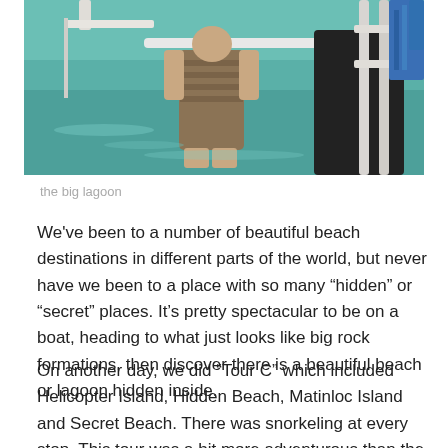[Figure (photo): Two people on a boat in a lagoon with turquoise water; person in foreground holding a white pole or paddle, person in black shirt visible to the right, blue ropes on the right side.]
the big lagoon
We've been to a number of beautiful beach destinations in different parts of the world, but never have we been to a place with so many “hidden” or “secret” places. It's pretty spectacular to be on a boat, heading to what just looks like big rock formations, then discover there is a beautiful beach or lagoon hidden inside.
On another day, we did “Tour C” which included Helicopter Island, Hidden Beach, Matinloc Island and Secret Beach. There was snorkeling at every stop. This tour was a bit more adventurous than the first one we did. The first adventure of the day was making our way to the Hidden